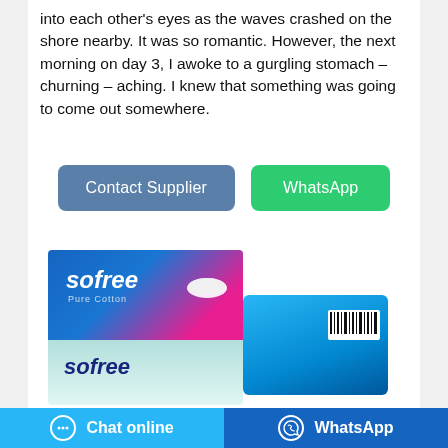into each other's eyes as the waves crashed on the shore nearby. It was so romantic. However, the next morning on day 3, I awoke to a gurgling stomach – churning – aching. I knew that something was going to come out somewhere.
[Figure (screenshot): Two e-commerce style buttons: 'Contact Supplier' in blue and 'WhatsApp' in green]
[Figure (photo): Product packaging images: Sofree Pure Cotton sanitary pads in blue/pink box and a second blue package, partially visible]
[Figure (screenshot): Bottom navigation bar with 'Chat online' button in light blue and 'WhatsApp' button in dark blue]